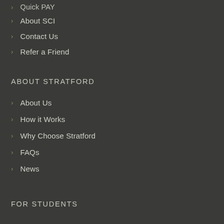Quick Pay
About SCI
Contact Us
Refer a Friend
ABOUT STRATFORD
About Us
How it Works
Why Choose Stratford
FAQs
News
FOR STUDENTS